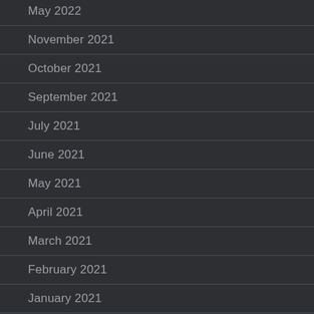May 2022
November 2021
October 2021
September 2021
July 2021
June 2021
May 2021
April 2021
March 2021
February 2021
January 2021
December 2020